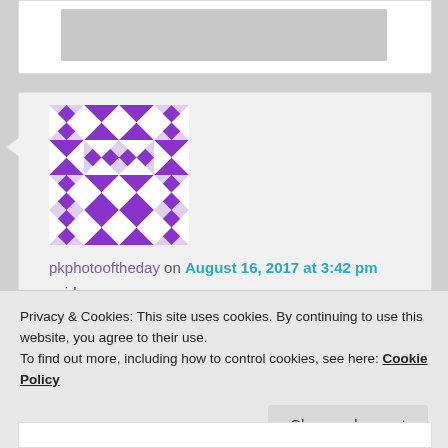[Figure (other): Partial gray placeholder image card at top]
[Figure (illustration): Purple geometric avatar/identicon pattern for user pkphotooftheday]
pkphotooftheday on August 16, 2017 at 3:42 pm
said:
Hi Robin! These are such beautiful images from Iceland.
★ Liked by 1 person
Privacy & Cookies: This site uses cookies. By continuing to use this website, you agree to their use.
To find out more, including how to control cookies, see here: Cookie Policy
Close and accept